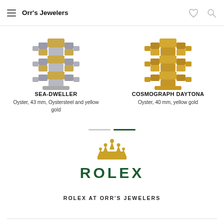Orr's Jewelers
[Figure (photo): Partial view of SEA-DWELLER watch bracelet in Oystersteel and yellow gold]
SEA-DWELLER
Oyster, 43 mm, Oystersteel and yellow gold
[Figure (photo): Partial view of Cosmograph Daytona watch bracelet in yellow gold]
COSMOGRAPH DAYTONA
Oyster, 40 mm, yellow gold
[Figure (logo): Rolex crown logo and ROLEX wordmark in dark green]
ROLEX AT ORR'S JEWELERS